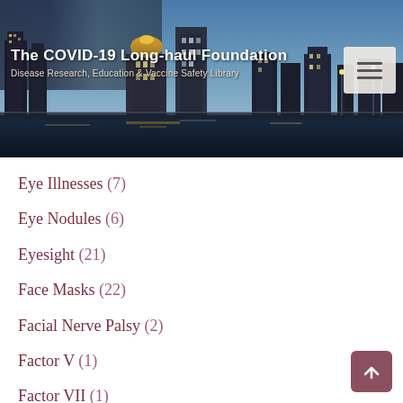[Figure (photo): City skyline banner with header text overlay showing The COVID-19 Long-haul Foundation and subtitle Disease Research, Education & Vaccine Safety Library, with hamburger menu icon in top right]
Eye Illnesses (7)
Eye Nodules (6)
Eyesight (21)
Face Masks (22)
Facial Nerve Palsy (2)
Factor V (1)
Factor VII (1)
Failure (26)
False Positive (1)
Famotidine (1)